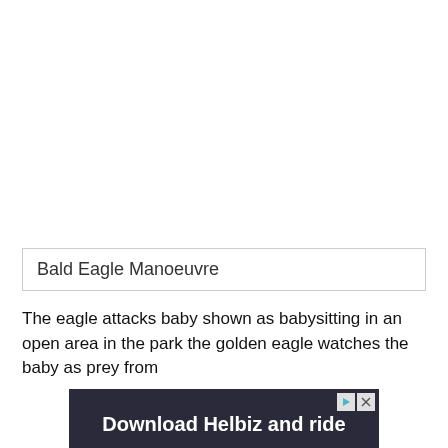Bald Eagle Manoeuvre
The eagle attacks baby shown as babysitting in an open area in the park the golden eagle watches the baby as prey from
[Figure (photo): Advertisement banner for 'Download Helbiz and ride' showing a person with a scooter/vehicle in dark background, with play and close controls in top right corner.]